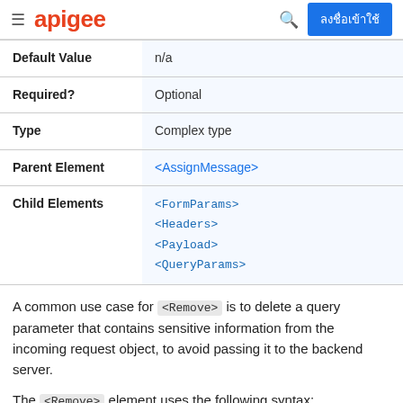apigee  ลงชื่อเข้าใช้
| Default Value | n/a |
| Required? | Optional |
| Type | Complex type |
| Parent Element | <AssignMessage> |
| Child Elements | <FormParams>
<Headers>
<Payload>
<QueryParams> |
A common use case for <Remove> is to delete a query parameter that contains sensitive information from the incoming request object, to avoid passing it to the backend server.
The <Remove> element uses the following syntax: